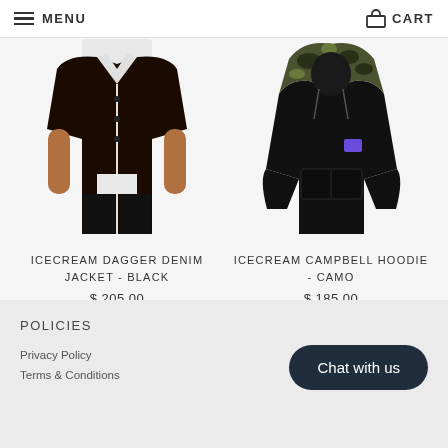MENU   CART
[Figure (photo): Man wearing ICECREAM Dagger Denim Jacket in black, showing front view from chest down]
ICECREAM DAGGER DENIM JACKET - BLACK
$ 205.00
[Figure (photo): ICECREAM Campbell Hoodie in camo colorway, displayed as product flat/ghost mannequin shot]
ICECREAM CAMPBELL HOODIE - CAMO
$ 185.00
POLICIES
Chat with us
Privacy Policy
Terms & Conditions